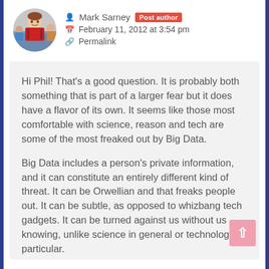[Figure (photo): Circular avatar photo of a young man in a red shirt at an outdoor event]
Mark Sarney Post author
February 11, 2012 at 3:54 pm
Permalink
Hi Phil! That's a good question. It is probably both something that is part of a larger fear but it does have a flavor of its own. It seems like those most comfortable with science, reason and tech are some of the most freaked out by Big Data.

Big Data includes a person's private information, and it can constitute an entirely different kind of threat. It can be Orwellian and that freaks people out. It can be subtle, as opposed to whizbang tech gadgets. It can be turned against us without us knowing, unlike science in general or technology in particular.